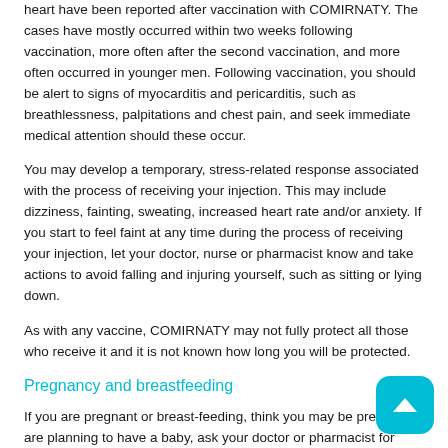heart have been reported after vaccination with COMIRNATY. The cases have mostly occurred within two weeks following vaccination, more often after the second vaccination, and more often occurred in younger men. Following vaccination, you should be alert to signs of myocarditis and pericarditis, such as breathlessness, palpitations and chest pain, and seek immediate medical attention should these occur.
You may develop a temporary, stress-related response associated with the process of receiving your injection. This may include dizziness, fainting, sweating, increased heart rate and/or anxiety. If you start to feel faint at any time during the process of receiving your injection, let your doctor, nurse or pharmacist know and take actions to avoid falling and injuring yourself, such as sitting or lying down.
As with any vaccine, COMIRNATY may not fully protect all those who receive it and it is not known how long you will be protected.
Pregnancy and breastfeeding
If you are pregnant or breast-feeding, think you may be pregnant or are planning to have a baby, ask your doctor or pharmacist for advice before you receive this vaccine.
Children and adolescents